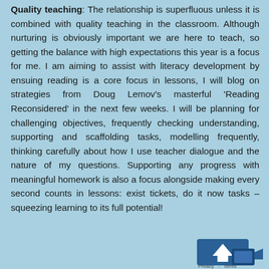Quality teaching: The relationship is superfluous unless it is combined with quality teaching in the classroom. Although nurturing is obviously important we are here to teach, so getting the balance with high expectations this year is a focus for me. I am aiming to assist with literacy development by ensuing reading is a core focus in lessons, I will blog on strategies from Doug Lemov's masterful 'Reading Reconsidered' in the next few weeks. I will be planning for challenging objectives, frequently checking understanding, supporting and scaffolding tasks, modelling frequently, thinking carefully about how I use teacher dialogue and the nature of my questions. Supporting any progress with meaningful homework is also a focus alongside making every second counts in lessons: exist tickets, do it now tasks – squeezing learning to its full potential!
[Figure (logo): Blue 'back to top' arrow button icon with video camera icon overlay in bottom right corner, with Privacy and Terms text below]